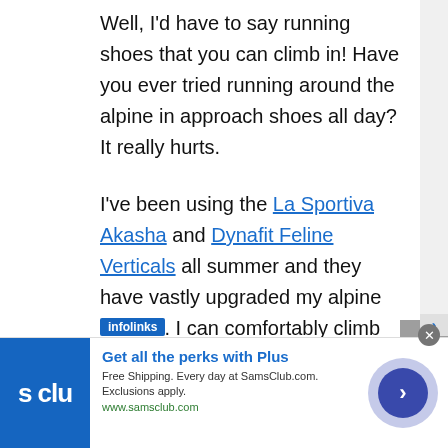Well, I'd have to say running shoes that you can climb in! Have you ever tried running around the alpine in approach shoes all day? It really hurts.
I've been using the La Sportiva Akasha and Dynafit Feline Verticals all summer and they have vastly upgraded my alpine season. I can comfortably climb 5.6 in them and run both to and from the trailheads.
Tell us about one of your proudest moments in climbing. What about ur least proud moment?
[Figure (screenshot): Advertisement banner: Sam's Club 'Get all the perks with Plus' ad with blue logo, text about free shipping at SamsClub.com, and a circular button. Infolinks badge visible.]